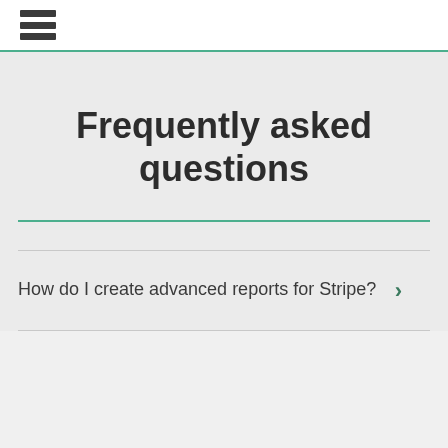≡
Frequently asked questions
How do I create advanced reports for Stripe?